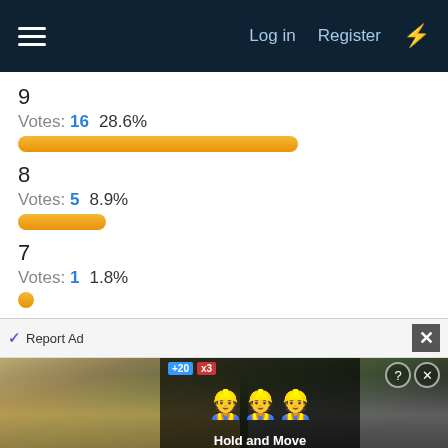≡   Log in   Register  ⚡
9
Votes: 16   28.6%
8
Votes: 5   8.9%
7
Votes: 1   1.8%
6
Votes: 1   1.8%
5
Votes: 0   0.0%
[Figure (screenshot): Advertisement banner at bottom of page showing 'Hold and Move' app with trees background, Report Ad label and close button]